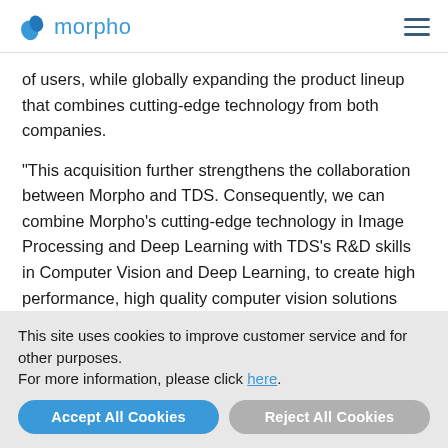morpho
of users, while globally expanding the product lineup that combines cutting-edge technology from both companies.
"This acquisition further strengthens the collaboration between Morpho and TDS. Consequently, we can combine Morpho’s cutting-edge technology in Image Processing and Deep Learning with TDS’s R&D skills in Computer Vision and Deep Learning, to create high performance, high quality computer vision solutions that cater to a wider range of industry needs. We expect our collaboration to energize innovation and
This site uses cookies to improve customer service and for other purposes.
For more information, please click here.
Accept All Cookies
Reject All Cookies